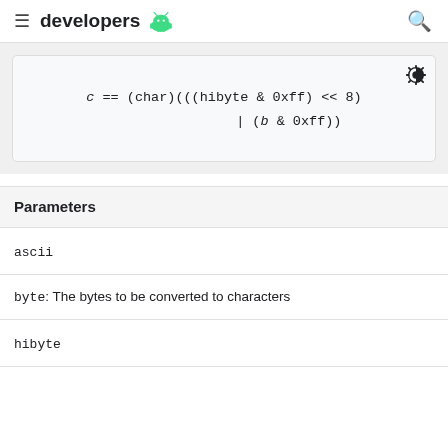developers
[Figure (screenshot): Code block showing: c == (char)(((hibyte & 0xff) << 8) | (b & 0xff))]
Parameters
ascii
byte: The bytes to be converted to characters
hibyte